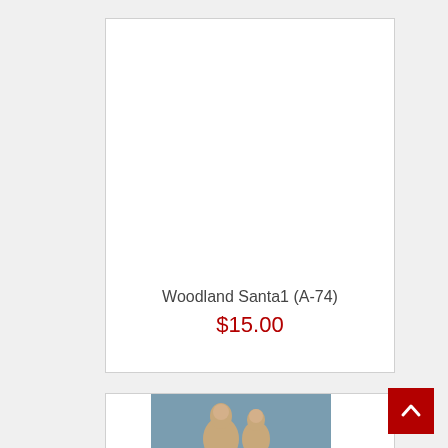[Figure (photo): Product listing card with white background image area for 'Woodland Santa1 (A-74)' figurine]
Woodland Santa1 (A-74)
$15.00
[Figure (photo): Second product card showing a Santa Claus figurine against a blue-grey background]
[Figure (other): Back to top button - red square with white upward chevron arrow]